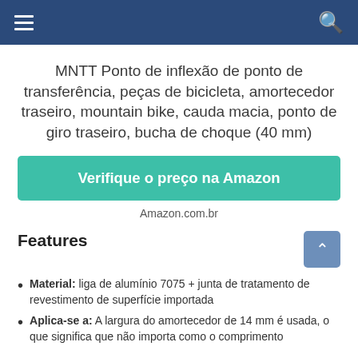Navigation bar with hamburger menu and search icon
MNTT Ponto de inflexão de ponto de transferência, peças de bicicleta, amortecedor traseiro, mountain bike, cauda macia, ponto de giro traseiro, bucha de choque (40 mm)
Verifique o preço na Amazon
Amazon.com.br
Features
Material: liga de alumínio 7075 + junta de tratamento de revestimento de superfície importada
Aplica-se a: A largura do amortecedor de 14 mm é usada, o que significa que não importa como o comprimento